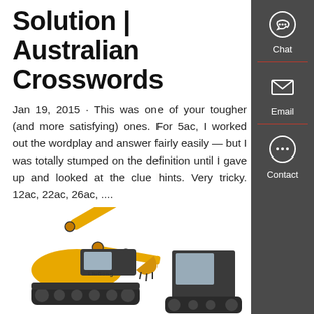Solution | Australian Crosswords
Jan 19, 2015 · This was one of your tougher (and more satisfying) ones. For 5ac, I worked out the wordplay and answer fairly easily — but I was totally stumped on the definition until I gave up and looked at the clue hints. Very tricky. 12ac, 22ac, 26ac, ....
Get a Quote
[Figure (photo): Yellow LiuGong excavator/mini excavator with cab visible]